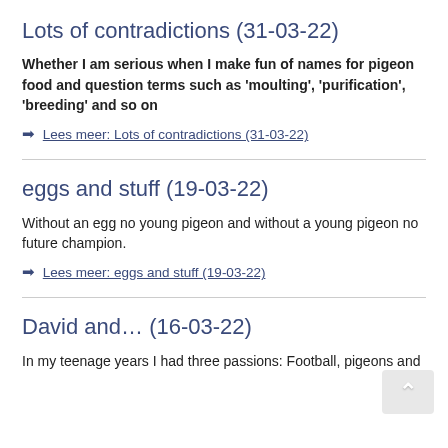Lots of contradictions (31-03-22)
Whether I am serious when I make fun of names for pigeon food and question terms such as 'moulting', 'purification', 'breeding' and so on
Lees meer: Lots of contradictions (31-03-22)
eggs and stuff (19-03-22)
Without an egg no young pigeon and without a young pigeon no future champion.
Lees meer: eggs and stuff (19-03-22)
David and… (16-03-22)
In my teenage years I had three passions: Football, pigeons and